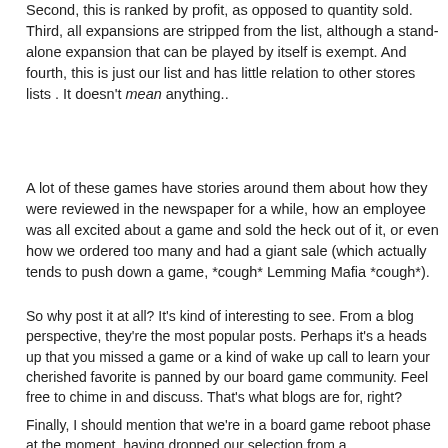Second, this is ranked by profit, as opposed to quantity sold. Third, all expansions are stripped from the list, although a stand-alone expansion that can be played by itself is exempt. And fourth, this is just our list and has little relation to other stores lists . It doesn't mean anything..
A lot of these games have stories around them about how they were reviewed in the newspaper for a while, how an employee was all excited about a game and sold the heck out of it, or even how we ordered too many and had a giant sale (which actually tends to push down a game, *cough* Lemming Mafia *cough*).
So why post it at all? It's kind of interesting to see. From a blog perspective, they're the most popular posts. Perhaps it's a heads up that you missed a game or a kind of wake up call to learn your cherished favorite is panned by our board game community. Feel free to chime in and discuss. That's what blogs are for, right?
Finally, I should mention that we're in a board game reboot phase at the moment, having dropped our selection from a